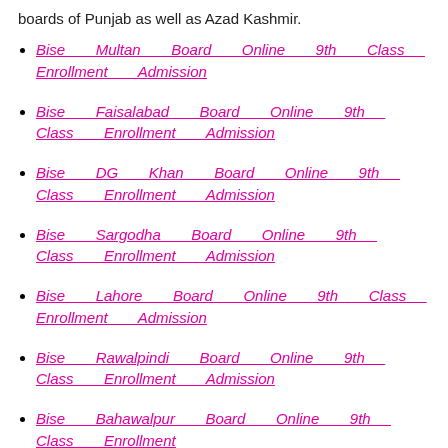boards of Punjab as well as Azad Kashmir.
Bise Multan Board Online 9th Class Enrollment Admission
Bise Faisalabad Board Online 9th Class Enrollment Admission
Bise DG Khan Board Online 9th Class Enrollment Admission
Bise Sargodha Board Online 9th Class Enrollment Admission
Bise Lahore Board Online 9th Class Enrollment Admission
Bise Rawalpindi Board Online 9th Class Enrollment Admission
Bise Bahawalpur Board Online 9th Class Enrollment